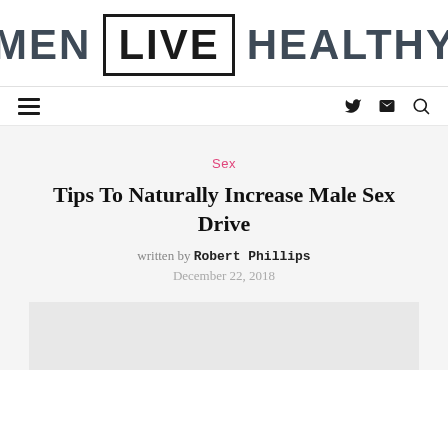MEN LIVE HEALTHY
Sex
Tips To Naturally Increase Male Sex Drive
written by Robert Phillips
December 22, 2018
[Figure (photo): Article header image placeholder (light gray background)]